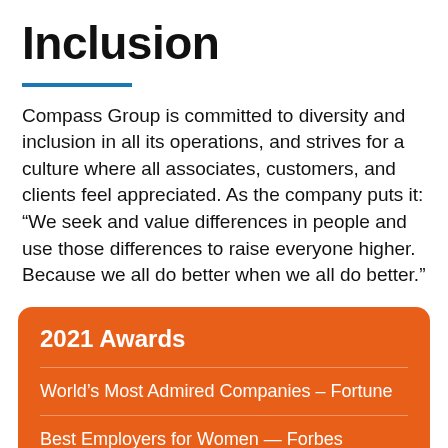Inclusion
Compass Group is committed to diversity and inclusion in all its operations, and strives for a culture where all associates, customers, and clients feel appreciated. As the company puts it: “We seek and value differences in people and use those differences to raise everyone higher. Because we all do better when we all do better.”
2021 Awards
World’s Most Admired Companies – Fortune
Best Employers for Women — Forbes
Best Employers for Diversity – Forbes